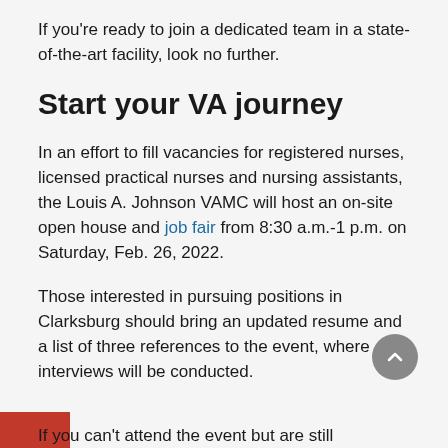If you're ready to join a dedicated team in a state-of-the-art facility, look no further.
Start your VA journey
In an effort to fill vacancies for registered nurses, licensed practical nurses and nursing assistants, the Louis A. Johnson VAMC will host an on-site open house and job fair from 8:30 a.m.-1 p.m. on Saturday, Feb. 26, 2022.
Those interested in pursuing positions in Clarksburg should bring an updated resume and a list of three references to the event, where interviews will be conducted.
If you can't attend the event but are still